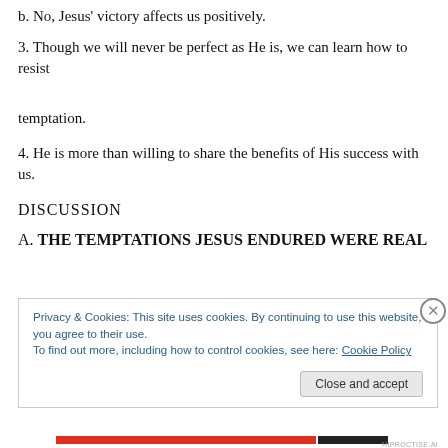b. No, Jesus' victory affects us positively.
3. Though we will never be perfect as He is, we can learn how to resist temptation.
4. He is more than willing to share the benefits of His success with us.
DISCUSSION
A. THE TEMPTATIONS JESUS ENDURED WERE REAL
Privacy & Cookies: This site uses cookies. By continuing to use this website, you agree to their use.
To find out more, including how to control cookies, see here: Cookie Policy